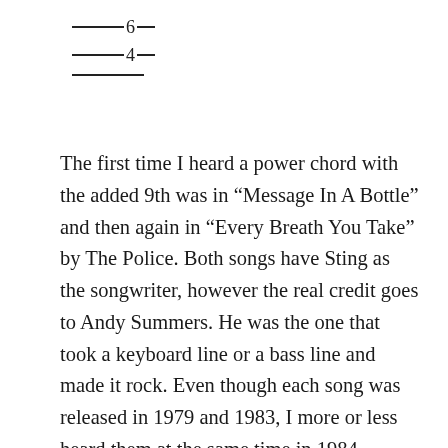[Figure (other): Three horizontal lines with numbers: a line with '6' in the middle, a line with '4' in the middle, and a plain line — resembling guitar tablature or musical notation marks.]
The first time I heard a power chord with the added 9th was in “Message In A Bottle” and then again in “Every Breath You Take” by The Police. Both songs have Sting as the songwriter, however the real credit goes to Andy Summers. He was the one that took a keyboard line or a bass line and made it rock. Even though each song was released in 1979 and 1983, I more or less heard them at the same time in 1984.